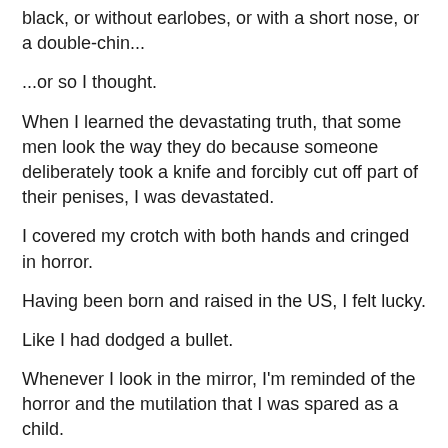Some guys, that's just how they're born, like being born black, or without earlobes, or with a short nose, or a double-chin...
...or so I thought.
When I learned the devastating truth, that some men look the way they do because someone deliberately took a knife and forcibly cut off part of their penises, I was devastated.
I covered my crotch with both hands and cringed in horror.
Having been born and raised in the US, I felt lucky.
Like I had dodged a bullet.
Whenever I look in the mirror, I'm reminded of the horror and the mutilation that I was spared as a child.
Whenever I urinate, or whenever I masturbate, I get a pang of guilt and regret to realize that I'm enjoying my body as it is, and that not everyone in this country has this privilege.